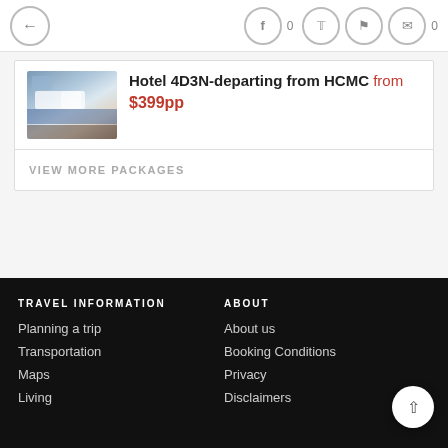← back navigation with social icons: facebook 0, twitter, bookmark, comment 0
Hotel 4D3N-departing from HCMC from $399pp
VIEW MORE PACKAGES
TRAVEL INFORMATION
Planning a trip
Transportation
Maps
Living
ABOUT
About us
Booking Conditions
Privacy
Disclaimers